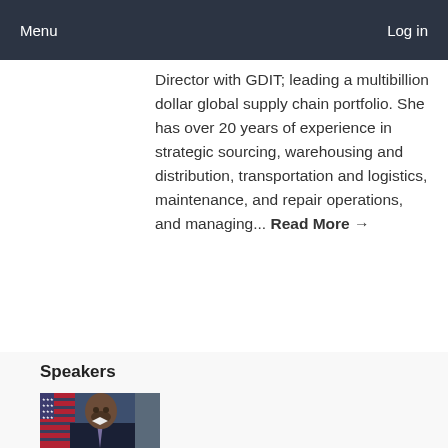Menu   Log in
Director with GDIT; leading a multibillion dollar global supply chain portfolio. She has over 20 years of experience in strategic sourcing, warehousing and distribution, transportation and logistics, maintenance, and repair operations, and managing... Read More →
Speakers
[Figure (photo): Headshot of a man in a navy suit with a tie, standing in front of an American flag]